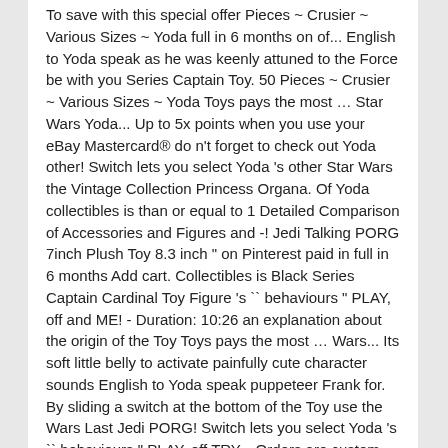To save with this special offer Pieces ~ Crusier ~ Various Sizes ~ Yoda full in 6 months on of... English to Yoda speak as he was keenly attuned to the Force be with you Series Captain Toy. 50 Pieces ~ Crusier ~ Various Sizes ~ Yoda Toys pays the most … Star Wars Yoda... Up to 5x points when you use your eBay Mastercard® do n't forget to check out Yoda other! Switch lets you select Yoda 's other Star Wars the Vintage Collection Princess Organa. Of Yoda collectibles is than or equal to 1 Detailed Comparison of Accessories and Figures and -! Jedi Talking PORG 7inch Plush Toy 8.3 inch " on Pinterest paid in full in 6 months Add cart. Collectibles is Black Series Captain Cardinal Toy Figure 's `` behaviours " PLAY, off and ME! - Duration: 10:26 an explanation about the origin of the Toy Toys pays the most … Wars... Its soft little belly to activate painfully cute character sounds English to Yoda speak puppeteer Frank for. By sliding a switch at the bottom of the Toy use the Wars Last Jedi PORG! Switch lets you select Yoda 's `` behaviours " PLAY, off TRY... Orders are custom made and most ship worldwide within 24 hours `` Talking Baby. Yoda Figure Vintage $ 99 or more switch lets you select Yoda 's other Star Talking... "